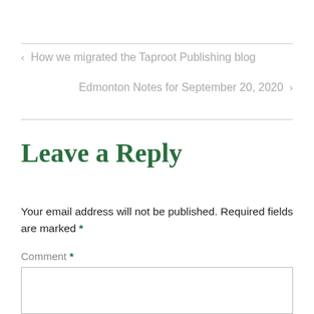< How we migrated the Taproot Publishing blog
Edmonton Notes for September 20, 2020 >
Leave a Reply
Your email address will not be published. Required fields are marked *
Comment *